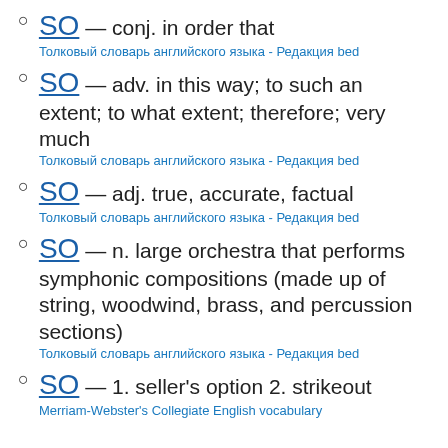SO — conj. in order that
Толковый словарь английского языка - Редакция bed
SO — adv. in this way; to such an extent; to what extent; therefore; very much
Толковый словарь английского языка - Редакция bed
SO — adj. true, accurate, factual
Толковый словарь английского языка - Редакция bed
SO — n. large orchestra that performs symphonic compositions (made up of string, woodwind, brass, and percussion sections)
Толковый словарь английского языка - Редакция bed
SO — 1. seller's option 2. strikeout
Merriam-Webster's Collegiate English vocabulary